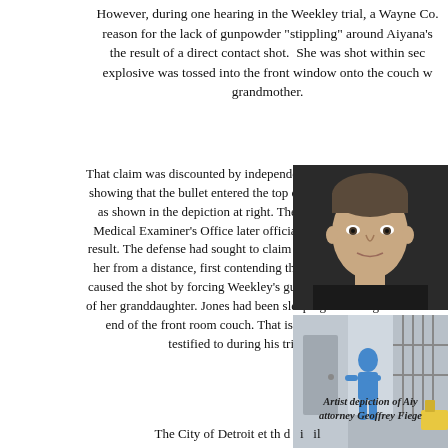However, during one hearing in the Weekley trial, a Wayne Co. reason for the lack of gunpowder "stippling" around Aiyana's the result of a direct contact shot. She was shot within sec explosive was tossed into the front window onto the couch w grandmother.
That claim was discounted by independent autopsy results showing that the bullet entered the top of the child's head as shown in the depiction at right. The Wayne County Medical Examiner's Office later officially accepted that result. The defense had sought to claim that Weekley shot her from a distance, first contending that Mertilla Jones caused the shot by forcing Weekley's gun back in defense of her granddaughter. Jones had been sleeping on the right end of the front room couch. That is what Weekley testified to during his trial.
[Figure (photo): Headshot photograph of a man (believed to be attorney Geoffrey Fieger or related party) against dark background]
[Figure (illustration): Artist depiction of Aiyana scene showing a blue figure in a hallway/room setting]
Artist depiction of Aiy attorney Geoffrey Fiege
The City of Detroit et th d i il